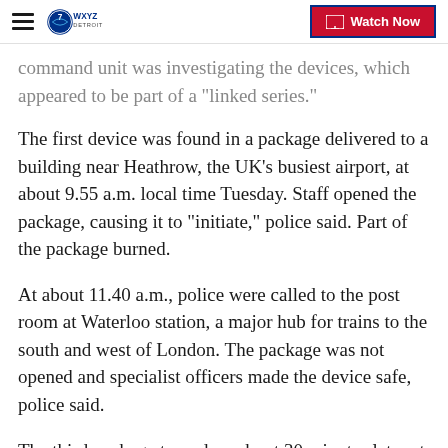WXYZ Detroit | Watch Now
command unit was investigating the devices, which appeared to be part of a "linked series."
The first device was found in a package delivered to a building near Heathrow, the UK's busiest airport, at about 9.55 a.m. local time Tuesday. Staff opened the package, causing it to "initiate," police said. Part of the package burned.
At about 11.40 a.m., police were called to the post room at Waterloo station, a major hub for trains to the south and west of London. The package was not opened and specialist officers made the device safe, police said.
The third package turned up about 30 minutes later at